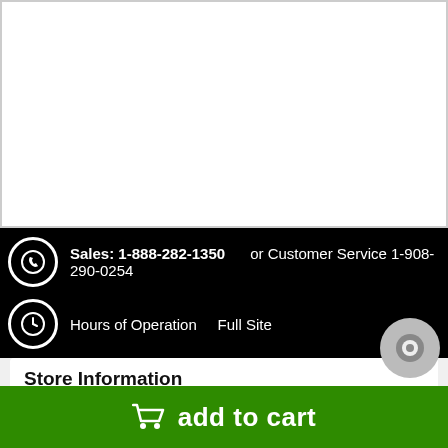[Figure (screenshot): White empty product image area with gray border]
Sales: 1-888-282-1350  or Customer Service 1-908-290-0254
Hours of Operation   Full Site
Store Information
Contact Us
About Us
add to cart